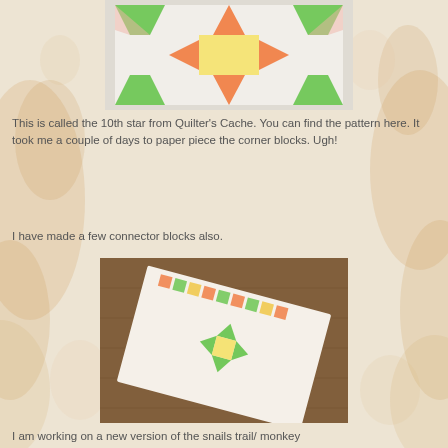[Figure (photo): Close-up of a quilt block with star pattern in green, orange, yellow, and pink fabrics on a light background]
This is called the 10th star from Quilter's Cache.  You can find the pattern here. It took me a couple of days to paper piece the corner blocks.  Ugh!
I have made a few connector blocks also.
[Figure (photo): Quilt blocks laid out on a wooden floor showing star and connector block patterns in green, orange, yellow, and pink fabrics]
I am working on a new version of the snails trail/ monkey